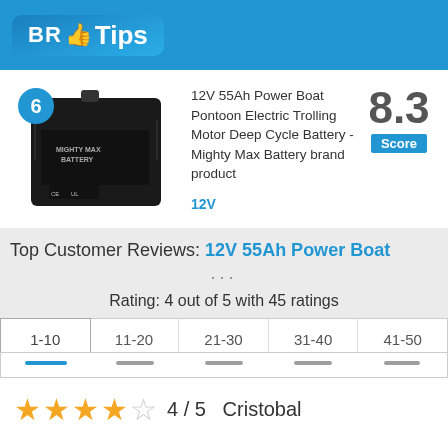BR Tips
[Figure (photo): Black 12V 55Ah Power Boat Pontoon Electric Trolling Motor Deep Cycle Battery - Mighty Max Battery brand product, with a blue circular badge showing number 6]
12V 55Ah Power Boat Pontoon Electric Trolling Motor Deep Cycle Battery - Mighty Max Battery brand product
12V
8.3 Score
Top Customer Reviews: 12V 55Ah Power Boat ...
Rating: 4 out of 5 with 45 ratings
| 1-10 | 11-20 | 21-30 | 31-40 | 41-50 |
| --- | --- | --- | --- | --- |
|  |
4 / 5  Cristobal